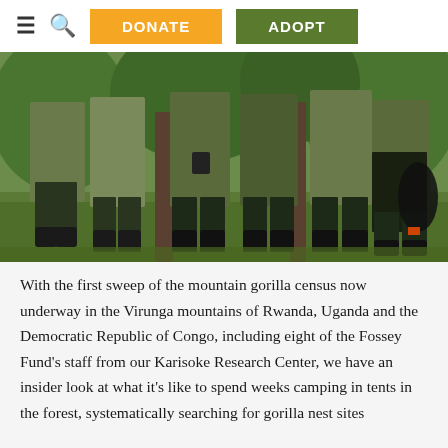≡ 🔍 DONATE ADOPT
[Figure (photo): Group of park rangers or field staff in green uniforms and dark waterproof pants standing in a forested area with green vegetation in the background. Bodies visible from waist down, showing rubber boots and equipment.]
With the first sweep of the mountain gorilla census now underway in the Virunga mountains of Rwanda, Uganda and the Democratic Republic of Congo, including eight of the Fossey Fund's staff from our Karisoke Research Center, we have an insider look at what it's like to spend weeks camping in tents in the forest, systematically searching for gorilla nest sites